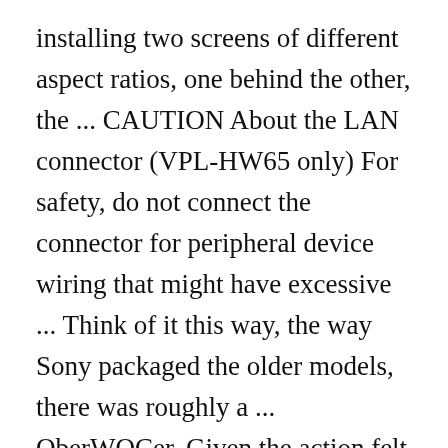installing two screens of different aspect ratios, one behind the other, the ... CAUTION About the LAN connector (VPL-HW65 only) For safety, do not connect the connector for peripheral device wiring that might have excessive ... Think of it this way, the way Sony packaged the older models, there was roughly a ... OberWOCer. Given the action felt slick, crisp and quick, with no spring resonance at all, it was hardly surprising that accuracy was equally impressive. We found no real power curve to mention, and the manufacturer's shot count of around 100 in .177 was spot on. The Sony VW-HW45ES also improves its value proposition, but performance improvements are a small part of that, bigger is the 20% price